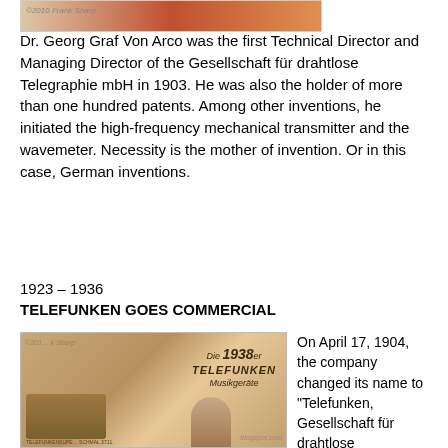[Figure (photo): Partial top image showing what appears to be a historical photograph, with watermark text visible]
Dr. Georg Graf Von Arco was the first Technical Director and Managing Director of the Gesellschaft für drahtlose Telegraphie mbH in 1903. He was also the holder of more than one hundred patents. Among other inventions, he initiated the high-frequency mechanical transmitter and the wavemeter. Necessity is the mother of invention. Or in this case, German inventions.
1923 – 1936
TELEFUNKEN GOES COMMERCIAL
[Figure (photo): Historical advertisement or catalogue image showing a 1938 Telefunken Musikgeräte with a radio/phonograph device and a man's portrait, with copyright watermark]
On April 17, 1904, the company changed its name to "Telefunken, Gesellschaft für drahtlose Telegraphie", and